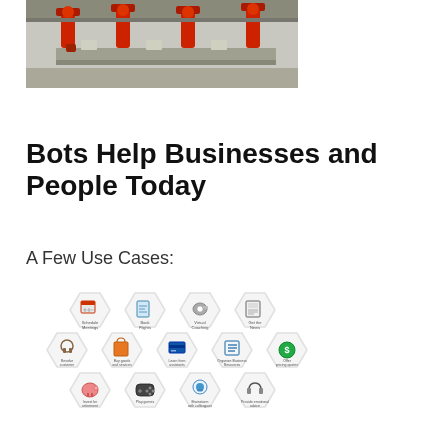[Figure (photo): Industrial robots on a factory assembly line, red robotic arms on a production floor]
Bots Help Businesses and People Today
A Few Use Cases:
[Figure (infographic): Hexagonal icon grid showing bot use cases: Schedule Meetings, Book Flights, Virtual Coaching, Get the News, Resolve customer service issues, Buy goods and services, Learn from assistants, Organize business resources, Offer pricing quotes, Invest for retirement, Play games, Brainstorm with colleagues, Provide emotional advice]